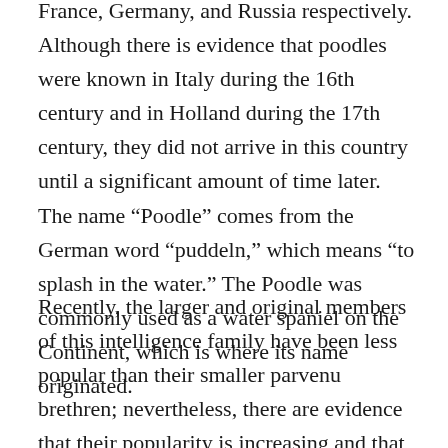France, Germany, and Russia respectively. Although there is evidence that poodles were known in Italy during the 16th century and in Holland during the 17th century, they did not arrive in this country until a significant amount of time later. The name “Poodle” comes from the German word “puddeln,” which means “to splash in the water.” The Poodle was commonly used as a water spaniel on the Continent, which is where its name originated.
Recently, the larger and original members of this intelligence family have been less popular than their smaller parvenu brethren; nevertheless, there are evidence that their popularity is increasing and that this trend will likely continue in the near future.